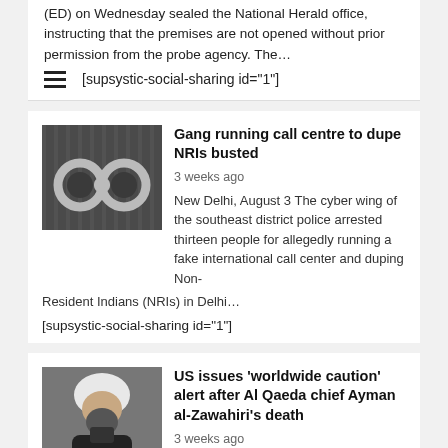(ED) on Wednesday sealed the National Herald office, instructing that the premises are not opened without prior permission from the probe agency. The…
[supsystic-social-sharing id="1"]
Gang running call centre to dupe NRIs busted
3 weeks ago
New Delhi, August 3 The cyber wing of the southeast district police arrested thirteen people for allegedly running a fake international call center and duping Non-Resident Indians (NRIs) in Delhi…
[supsystic-social-sharing id="1"]
US issues 'worldwide caution' alert after Al Qaeda chief Ayman al-Zawahiri's death
3 weeks ago
New York, August 3 The US State Department has issued a worldwide alert after the death of Al-Qaeda chief Ayman al-Zawahiri. Yesterday, President Joe Biden announced that the most wanted…
[supsystic-social-sharing id="1"]